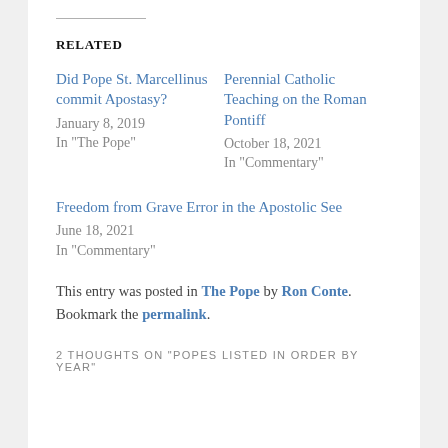RELATED
Did Pope St. Marcellinus commit Apostasy?
January 8, 2019
In "The Pope"
Perennial Catholic Teaching on the Roman Pontiff
October 18, 2021
In "Commentary"
Freedom from Grave Error in the Apostolic See
June 18, 2021
In "Commentary"
This entry was posted in The Pope by Ron Conte. Bookmark the permalink.
2 THOUGHTS ON "POPES LISTED IN ORDER BY YEAR"